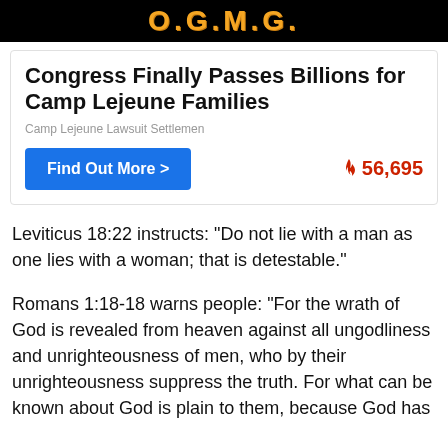[Figure (logo): O.G.M.G. logo text in orange on black banner background]
Congress Finally Passes Billions for Camp Lejeune Families
Camp Lejeune Lawsuit Settlemen
Find Out More >
🔥 56,695
Leviticus 18:22 instructs: "Do not lie with a man as one lies with a woman; that is detestable."
Romans 1:18-18 warns people: "For the wrath of God is revealed from heaven against all ungodliness and unrighteousness of men, who by their unrighteousness suppress the truth. For what can be known about God is plain to them, because God has